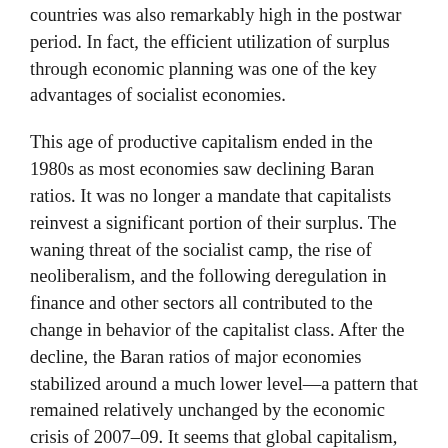countries was also remarkably high in the postwar period. In fact, the efficient utilization of surplus through economic planning was one of the key advantages of socialist economies.
This age of productive capitalism ended in the 1980s as most economies saw declining Baran ratios. It was no longer a mandate that capitalists reinvest a significant portion of their surplus. The waning threat of the socialist camp, the rise of neoliberalism, and the following deregulation in finance and other sectors all contributed to the change in behavior of the capitalist class. After the decline, the Baran ratios of major economies stabilized around a much lower level—a pattern that remained relatively unchanged by the economic crisis of 2007–09. It seems that global capitalism, on the whole, has moved to a new stage featuring low accumulation, or long-term stagnation.
Nevertheless, there are considerable regional